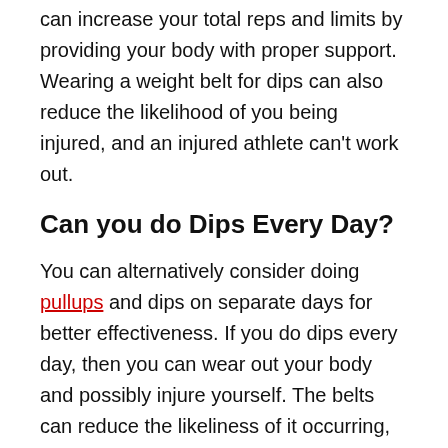can increase your total reps and limits by providing your body with proper support. Wearing a weight belt for dips can also reduce the likelihood of you being injured, and an injured athlete can't work out.
Can you do Dips Every Day?
You can alternatively consider doing pullups and dips on separate days for better effectiveness. If you do dips every day, then you can wear out your body and possibly injure yourself. The belts can reduce the likeliness of it occurring, but there's always a danger.
Do Dips Build Muscle?